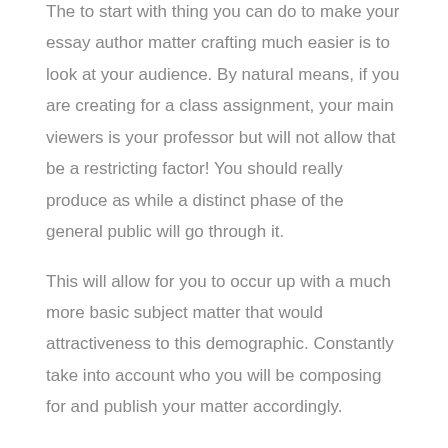The to start with thing you can do to make your essay author matter crafting much easier is to look at your audience. By natural means, if you are creating for a class assignment, your main viewers is your professor but will not allow that be a restricting factor! You should really produce as while a distinct phase of the general public will go through it.
This will allow for you to occur up with a much more basic subject matter that would attractiveness to this demographic. Constantly take into account who you will be composing for and publish your matter accordingly.
There are lots of great freelance writers who are used to composing for print medium. These offline writers are surely able of turning out to be great Internet writers, but they